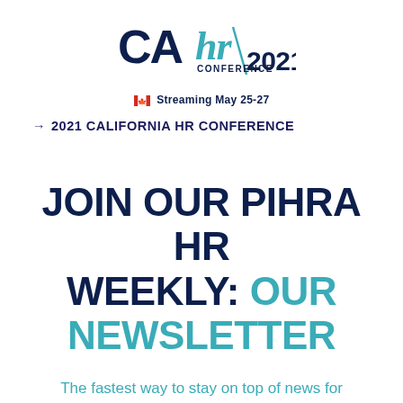[Figure (logo): CAhr Conference 2021 logo with teal cursive 'hr', dark navy 'CA', 'CONFERENCE' text, and '2021' in navy. Below: Canadian flag icon and 'Streaming May 25-27' text.]
→ 2021 CALIFORNIA HR CONFERENCE
JOIN OUR PIHRA HR WEEKLY: OUR NEWSLETTER
The fastest way to stay on top of news for human resource professionals.